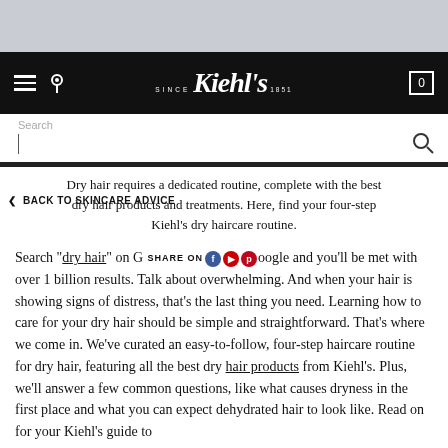Kiehl's Since 1851 — Navigation bar with hamburger menu, location icon, logo, and cart
Search
< BACK TO SKINCARE ADVICE
Dry hair requires a dedicated routine, complete with the best dry hair products and treatments. Here, find your four-step Kiehl's dry haircare routine.
Search "dry hair" on Google and you'll be met with over 1 billion results. Talk about overwhelming. And when your hair is showing signs of distress, that's the last thing you need. Learning how to care for your dry hair should be simple and straightforward. That's where we come in. We've curated an easy-to-follow, four-step haircare routine for dry hair, featuring all the best dry hair products from Kiehl's. Plus, we'll answer a few common questions, like what causes dryness in the first place and what you can expect dehydrated hair to look like. Read on for your Kiehl's guide to